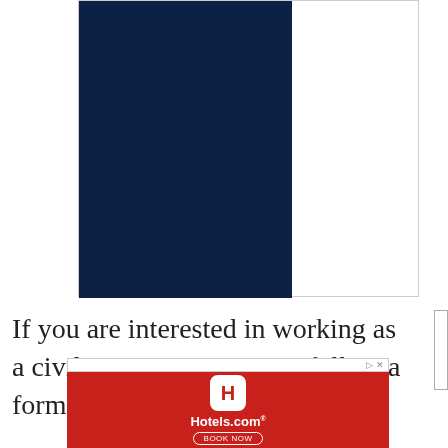[Figure (other): Dark navy blue rectangular block, partially visible, representing a book cover or image placeholder]
If you are interested in working as a civil engineer, you must follow a formal educational
[Figure (other): Hotels.com advertisement banner with red background, Hotels.com logo icon, Hotels.com text and BOOK NOW button]